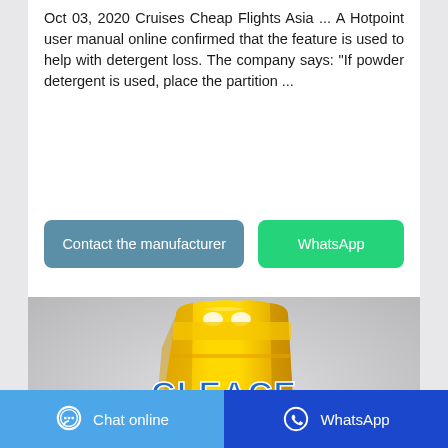Oct 03, 2020 Cruises Cheap Flights Asia ... A Hotpoint user manual online confirmed that the feature is used to help with detergent loss. The company says: "If powder detergent is used, place the partition ...
[Figure (other): Two buttons side by side: a blue-grey 'Contact the manufacturer' button and a green 'WhatsApp' button]
[Figure (photo): A yellow bag of CLEACE Lemon Freshness Antibacterial Washing Powder detergent on a grey background]
Chat online   WhatsApp